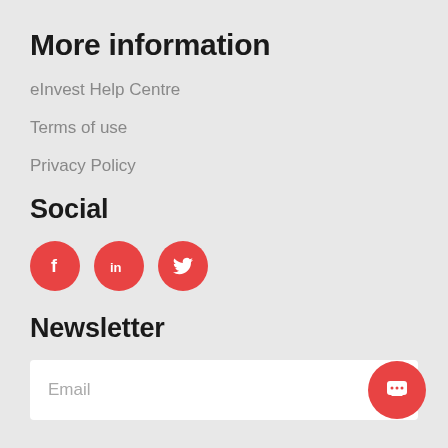More information
eInvest Help Centre
Terms of use
Privacy Policy
Social
[Figure (infographic): Three red circular social media icons: Facebook (f), LinkedIn (in), Twitter (bird icon)]
Newsletter
Email